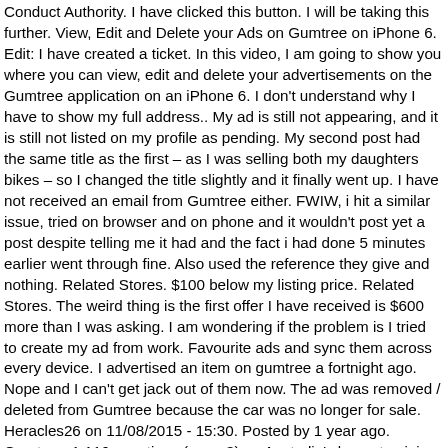Conduct Authority. I have clicked this button. I will be taking this further. View, Edit and Delete your Ads on Gumtree on iPhone 6. Edit: I have created a ticket. In this video, I am going to show you where you can view, edit and delete your advertisements on the Gumtree application on an iPhone 6. I don't understand why I have to show my full address.. My ad is still not appearing, and it is still not listed on my profile as pending. My second post had the same title as the first – as I was selling both my daughters bikes – so I changed the title slightly and it finally went up. I have not received an email from Gumtree either. FWIW, i hit a similar issue, tried on browser and on phone and it wouldn't post yet a post despite telling me it had and the fact i had done 5 minutes earlier went through fine. Also used the reference they give and nothing. Related Stores. $100 below my listing price. Related Stores. The weird thing is the first offer I have received is $600 more than I was asking. I am wondering if the problem is I tried to create my ad from work. Favourite ads and sync them across every device. I advertised an item on gumtree a fortnight ago. Nope and I can't get jack out of them now. The ad was removed / deleted from Gumtree because the car was no longer for sale. Heracles26 on 11/08/2015 - 15:30. Posted by 1 year ago. Gumtree: 1,116 questions (page 3) on Australia's largest opinion site ProductReview.com.au. Completing the CAPTCHA proves you are a human and gives you temporary access to the web property. I logged on to my account and clicked the "repost" button only to be told that a free repost is only available for one ad per account! Please enable Cookies and reload the page. I' see similar ads which do go against guidelines and ppl who are not qualified don't have an ABN ETC but their ads are up all the time and never taken down. Why Is Gumtree Not Posting My Ad? I think you first need to look 40+, in it to make 1